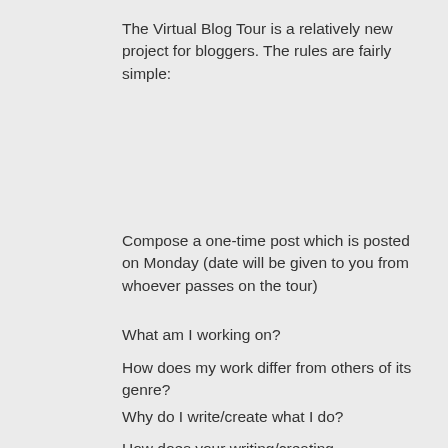The Virtual Blog Tour is a relatively new project for bloggers. The rules are fairly simple:
Compose a one-time post which is posted on Monday (date will be given to you from whoever passes on the tour)
What am I working on?
How does my work differ from others of its genre?
Why do I write/create what I do?
How does your writing/creating process work?
Answer four questions about our creative process which lets other